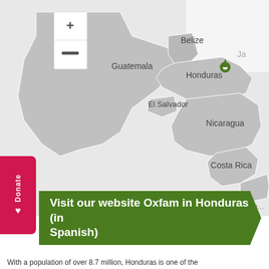[Figure (map): Interactive map of Central America showing Honduras highlighted with a green location pin. Countries labeled include Belize, Guatemala, Honduras, El Salvador, Nicaragua, Costa Rica, Panama (partially visible). Also shows 'Ja' and 'Ca' labels for Caribbean regions. Map controls (+ and -) visible in upper left.]
Visit our website Oxfam in Honduras (in Spanish)
With a population of over 8.7 million, Honduras is one of the